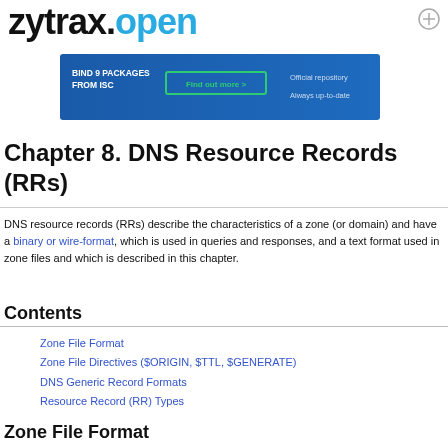zytrax.open
[Figure (infographic): BIND 9 PACKAGES FROM ISC advertisement banner with 'Find out more >' button, 'Official repository', 'Always up-to-date' text]
Chapter 8. DNS Resource Records (RRs)
DNS resource records (RRs) describe the characteristics of a zone (or domain) and have a binary or wire-format, which is used in queries and responses, and a text format used in zone files and which is described in this chapter.
Contents
Zone File Format
Zone File Directives ($ORIGIN, $TTL, $GENERATE)
DNS Generic Record Formats
Resource Record (RR) Types
Zone File Format